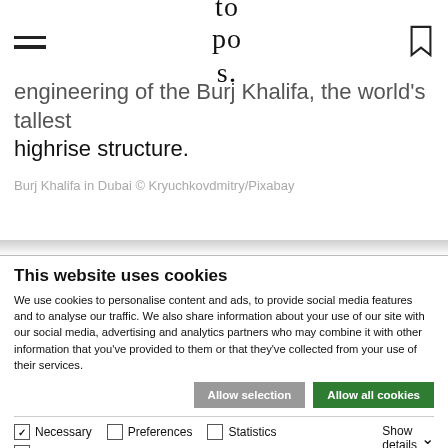topos. [logo with hamburger menu and bookmark icon]
engineering of the Burj Khalifa, the world's tallest highrise structure.
Burj Khalifa in Dubai © Kryuchkovdmitry/Pixabay
This website uses cookies
We use cookies to personalise content and ads, to provide social media features and to analyse our traffic. We also share information about your use of our site with our social media, advertising and analytics partners who may combine it with other information that you've provided to them or that they've collected from your use of their services.
Allow selection | Allow all cookies
☑ Necessary  ☐ Preferences  ☐ Statistics  ☐ Marketing  Show details ∨